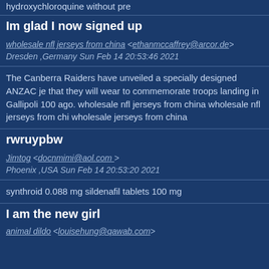hydroxychloroquine without pre
Im glad I now signed up
wholesale nfl jerseys from china <ethanmccaffrey@arcor.de> Dresden ,Germany Sun Feb 14 20:53:46 2021
The Canberra Raiders have unveiled a specially designed ANZAC jersey that they will wear to commemorate troops landing in Gallipoli 100 years ago. wholesale nfl jerseys from china wholesale nfl jerseys from china wholesale jerseys from china
rwruypbw
Jimtog <docnmimi@aol.com> Phoenix ,USA Sun Feb 14 20:53:20 2021
synthroid 0.088 mg sildenafil tablets 100 mg
I am the new girl
animal dildo <louisehung@qawab.com>